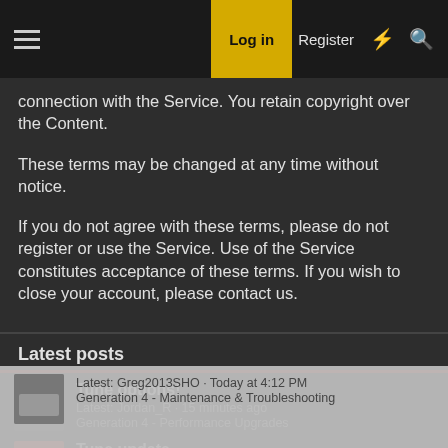Log in   Register
connection with the Service. You retain copyright over the Content.
These terms may be changed at any time without notice.
If you do not agree with these terms, please do not register or use the Service. Use of the Service constitutes acceptance of these terms. If you wish to close your account, please contact us.
Latest posts
Tune options!
Latest: Jordan_R · 15 minutes ago
Generation 4 - Performance Upgrades
Tune update
Latest: SM105K · Today at 8:34 PM
Ortiz Performance
Leaky Windshield
Latest: Greg2013SHO · Today at 4:12 PM
Generation 4 - Maintenance & Troubleshooting